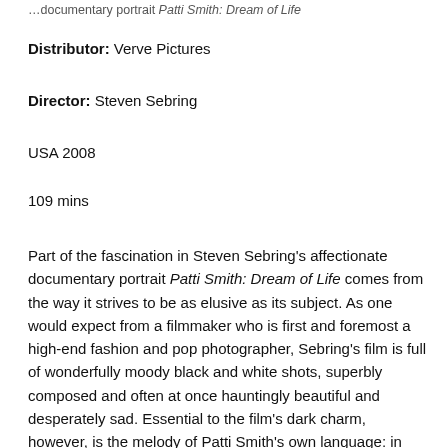...documentary portrait Patti Smith: Dream of Life
Distributor: Verve Pictures
Director: Steven Sebring
USA 2008
109 mins
Part of the fascination in Steven Sebring's affectionate documentary portrait Patti Smith: Dream of Life comes from the way it strives to be as elusive as its subject. As one would expect from a filmmaker who is first and foremost a high-end fashion and pop photographer, Sebring's film is full of wonderfully moody black and white shots, superbly composed and often at once hauntingly beautiful and desperately sad. Essential to the film's dark charm, however, is the melody of Patti Smith's own language: in slow, hypnotically gentle, yet radically evocative imagery and a brief, described...